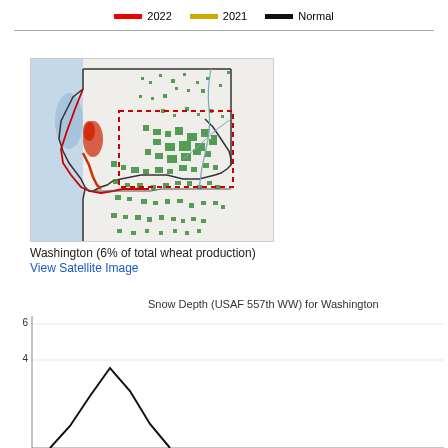[Figure (other): Legend bar showing colored lines for 2022 (red), 2021 (yellow/gold), and Normal (black)]
[Figure (map): Map of Washington state showing wheat production areas in green, with red dotted boundary overlay, rivers in blue, coastal areas in light blue. Washington state boundary in red/black lines.]
Washington (6% of total wheat production)
View Satellite Image
Snow Depth (USAF 557th WW) for Washington
[Figure (line-chart): Partial line chart showing Snow Depth (USAF 557th WW) for Washington, with y-axis starting at 6 and 4 visible, showing a black line with a peak shape at the bottom of the visible area.]